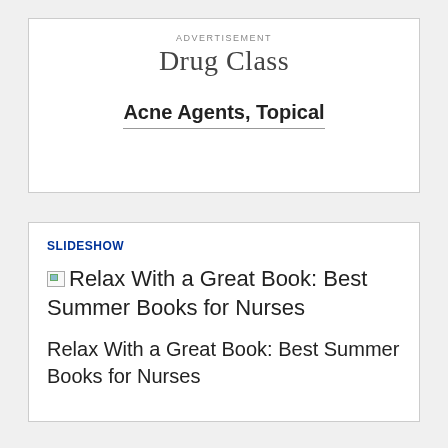ADVERTISEMENT
Drug Class
Acne Agents, Topical
SLIDESHOW
Relax With a Great Book: Best Summer Books for Nurses
Relax With a Great Book: Best Summer Books for Nurses